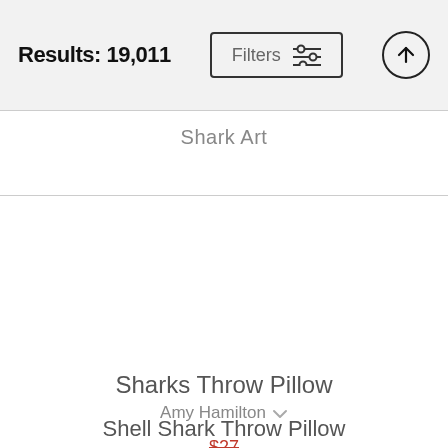Results: 19,011
Shark Art
Sharks Throw Pillow
Amy Hamilton
$27 $22
Shell Shark Throw Pillow